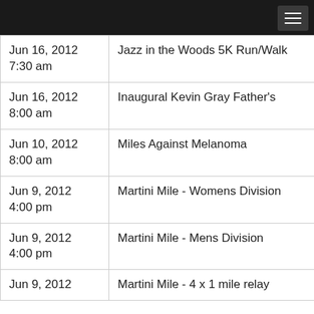| Date/Time | Event |
| --- | --- |
| Jun 16, 2012 7:30 am | Jazz in the Woods 5K Run/Walk |
| Jun 16, 2012 8:00 am | Inaugural Kevin Gray Father's |
| Jun 10, 2012 8:00 am | Miles Against Melanoma |
| Jun 9, 2012 4:00 pm | Martini Mile - Womens Division |
| Jun 9, 2012 4:00 pm | Martini Mile - Mens Division |
| Jun 9, 2012 | Martini Mile - 4 x 1 mile relay |